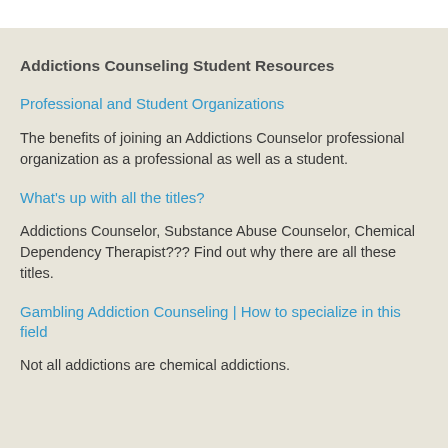Addictions Counseling Student Resources
Professional and Student Organizations
The benefits of joining an Addictions Counselor professional organization as a professional as well as a student.
What's up with all the titles?
Addictions Counselor, Substance Abuse Counselor, Chemical Dependency Therapist??? Find out why there are all these titles.
Gambling Addiction Counseling | How to specialize in this field
Not all addictions are chemical addictions.